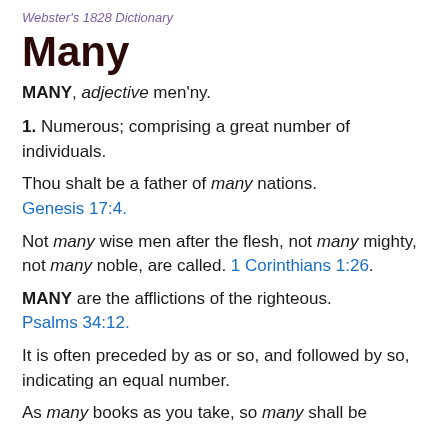Webster's 1828 Dictionary
Many
MANY, adjective men'ny.
1. Numerous; comprising a great number of individuals.
Thou shalt be a father of many nations. Genesis 17:4.
Not many wise men after the flesh, not many mighty, not many noble, are called. 1 Corinthians 1:26.
MANY are the afflictions of the righteous. Psalms 34:12.
It is often preceded by as or so, and followed by so, indicating an equal number.
As many books as you take, so many shall be